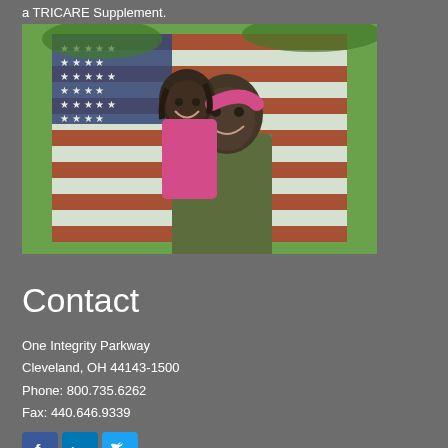a TRICARE Supplement.
[Figure (photo): A smiling military serviceman in camouflage uniform holding a young girl in a pink outfit, with an American flag in the background outdoors.]
Contact
One Integrity Parkway
Cleveland, OH 44143-1500
Phone: 800.735.6262
Fax: 440.646.9339
[Figure (other): Social media icons: Facebook, LinkedIn, Twitter]